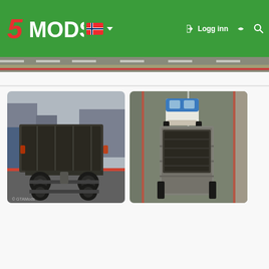[Figure (screenshot): 5MODS website navigation bar with green background, 5MODS logo in red and white, Norwegian flag icon with dropdown, Logg inn button, moon icon, and search icon]
[Figure (screenshot): Top hero image strip showing a green truck/bus partially cropped at top of page]
[Figure (photo): GTA5 game screenshot showing rear view of a dark dump truck with double rear axle in an urban environment]
[Figure (photo): GTA5 game screenshot showing aerial/top-down view of a white truck with blue cab pulling a flatbed trailer with dark cargo on a road]